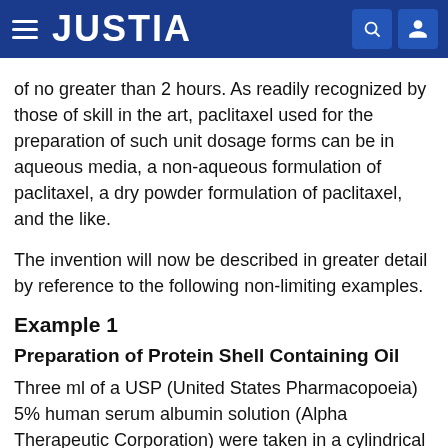JUSTIA
of no greater than 2 hours. As readily recognized by those of skill in the art, paclitaxel used for the preparation of such unit dosage forms can be in aqueous media, a non-aqueous formulation of paclitaxel, a dry powder formulation of paclitaxel, and the like.
The invention will now be described in greater detail by reference to the following non-limiting examples.
Example 1
Preparation of Protein Shell Containing Oil
Three ml of a USP (United States Pharmacopoeia) 5% human serum albumin solution (Alpha Therapeutic Corporation) were taken in a cylindrical vessel that could